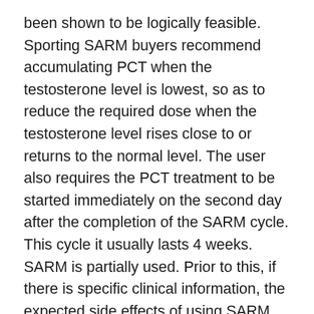been shown to be logically feasible. Sporting SARM buyers recommend accumulating PCT when the testosterone level is lowest, so as to reduce the required dose when the testosterone level rises close to or returns to the normal level. The user also requires the PCT treatment to be started immediately on the second day after the completion of the SARM cycle. This cycle it usually lasts 4 weeks. SARM is partially used. Prior to this, if there is specific clinical information, the expected side effects of using SARM on bicycles with rising PCT values remain unclear.
Steroids and SARMS
It is well known that androgenic steroids help to build muscle, but they have many side effects.